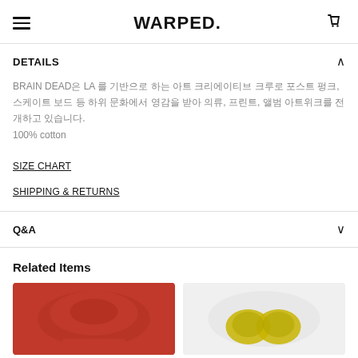WARPED.
DETAILS
BRAIN DEAD은 LA 를 기반으로 하는 아트 크리에이티브 크루로 포스트 펑크, 스케이트 보드 등 하위 문화에서 영감을 받아 의류, 프린트, 앨범 아트위크를 전개하고 있습니다.
100% cotton
SIZE CHART
SHIPPING & RETURNS
Q&A
Related Items
[Figure (photo): Red sweatshirt product thumbnail]
[Figure (photo): White sweatshirt with yellow graphic product thumbnail]